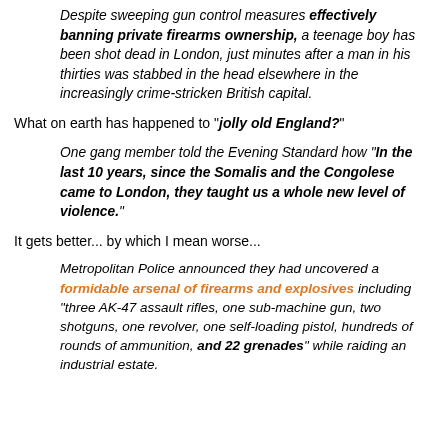Despite sweeping gun control measures effectively banning private firearms ownership, a teenage boy has been shot dead in London, just minutes after a man in his thirties was stabbed in the head elsewhere in the increasingly crime-stricken British capital.
What on earth has happened to "jolly old England?"
One gang member told the Evening Standard how "In the last 10 years, since the Somalis and the Congolese came to London, they taught us a whole new level of violence."
It gets better... by which I mean worse...
Metropolitan Police announced they had uncovered a formidable arsenal of firearms and explosives including "three AK-47 assault rifles, one sub-machine gun, two shotguns, one revolver, one self-loading pistol, hundreds of rounds of ammunition, and 22 grenades" while raiding an industrial estate.